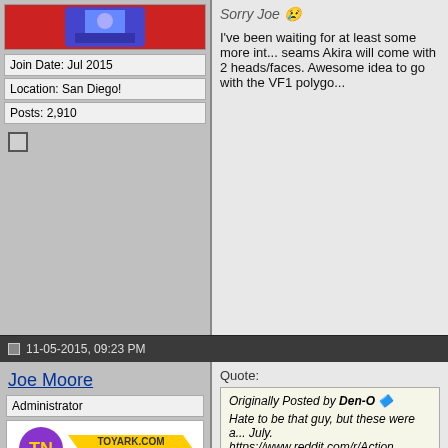[Figure (photo): Avatar image showing a toy/figure with red background]
Join Date: Jul 2015
Location: San Diego!
Posts: 2,910
11-05-2015, 09:23 PM
Sorry Joe 😢
I've been waiting for at least some more int... seams Akira will come with 2 heads/faces. Awesome idea to go with the VF1 polygo...
Joe Moore
Administrator
[Figure (logo): ToyArk.com Newsie badge with TN logo]
[Figure (logo): ToyArk.com Administrator badge with TN logo]
[Figure (illustration): Pixel art TMNT character on orange background]
Quote:
Originally Posted by Den-O
Hate to be that guy, but these were a... July. https://www.reddit.com/r/Action...

Sorry Joe 😢
Judging how this is spreading, I don't think...
[Figure (illustration): Pixel art TMNT characters in blue and orange bandanas]